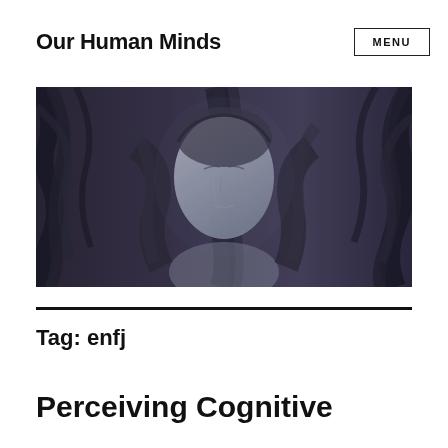Our Human Minds
[Figure (illustration): Fantasy illustration of a woman with pale stone-like skin and closed eyes, surrounded by dark twisted tree roots and branches in a moody blue-grey palette.]
Tag: enfj
Perceiving Cognitive